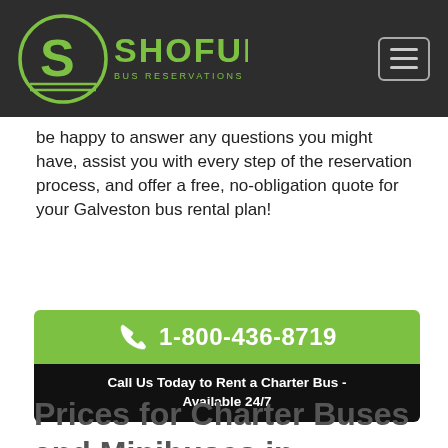[Figure (logo): Shofur logo with circular S emblem in green, text SHOFUR with tagline BUS RESERVATIONS MADE EASY, on dark background with hamburger menu button]
be happy to answer any questions you might have, assist you with every step of the reservation process, and offer a free, no-obligation quote for your Galveston bus rental plan!
1-800-436-8719 Call Us Today to Rent a Charter Bus - Available 24/7
Prices for Charter Buses and Minibuses in Galveston